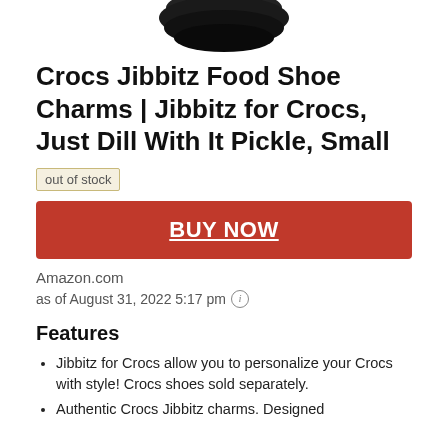[Figure (photo): Partial product photo showing the bottom portion of a Crocs Jibbitz shoe charm (black object) against a white background, cropped at the top of the page.]
Crocs Jibbitz Food Shoe Charms | Jibbitz for Crocs, Just Dill With It Pickle, Small
out of stock
BUY NOW
Amazon.com
as of August 31, 2022 5:17 pm
Features
Jibbitz for Crocs allow you to personalize your Crocs with style! Crocs shoes sold separately.
Authentic Crocs Jibbitz charms. Designed